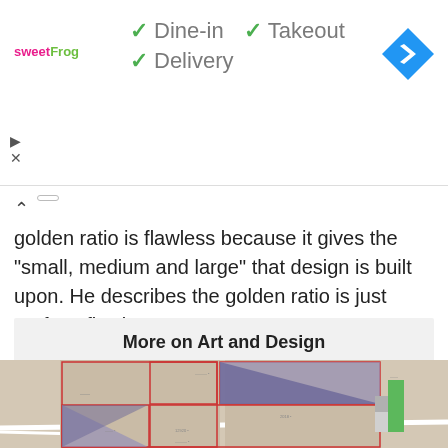[Figure (screenshot): sweetFrog logo with checkmarks for Dine-in, Takeout, Delivery options and a blue navigation arrow button]
golden ratio is flawless because it gives the "small, medium and large" that design is built upon. He describes the golden ratio is just perfect, flawless, ...
More on Art and Design
[Figure (map): A map showing city blocks with some buildings highlighted in blue/purple triangles and red rectangular outlines, with a green building visible on the right side]